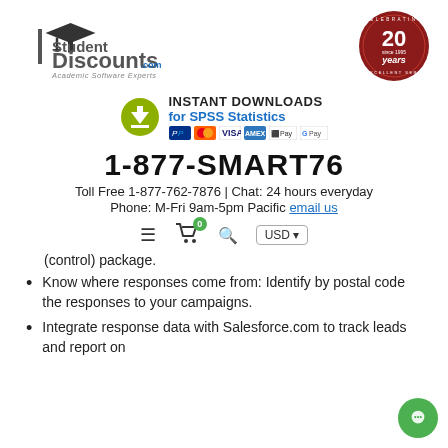[Figure (logo): StudentDiscounts.com Academic Software Experts logo with graduation cap]
[Figure (logo): Celebrating 20 years since 1995 of Excellent Service badge]
[Figure (infographic): Instant Downloads for SPSS Statistics banner with download icon and payment icons]
1-877-SMART76
Toll Free 1-877-762-7876 | Chat: 24 hours everyday
Phone: M-Fri 9am-5pm Pacific email us
[Figure (infographic): Navigation bar with hamburger menu, cart (0), search icon, and USD currency selector]
(control) package.
Know where responses come from: Identify by postal code the responses to your campaigns.
Integrate response data with Salesforce.com to track leads and report on